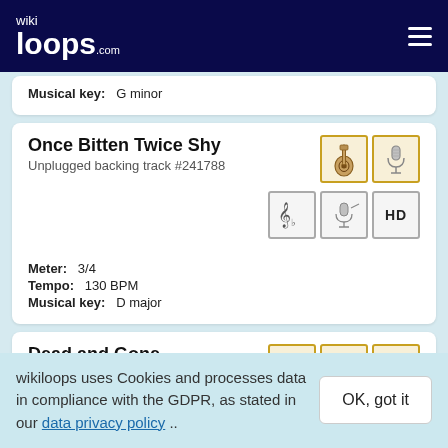wikiloops.com
Musical key: G minor
Once Bitten Twice Shy
Unplugged backing track #241788
Meter: 3/4
Tempo: 130 BPM
Musical key: D major
Dead and Gone
Unplugged backing track #193009
wikiloops uses Cookies and processes data in compliance with the GDPR, as stated in our data privacy policy ..